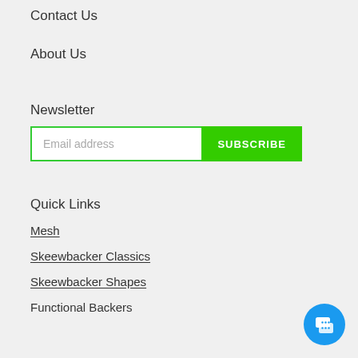Contact Us
About Us
Newsletter
Email address  SUBSCRIBE
Quick Links
Mesh
Skeewbacker Classics
Skeewbacker Shapes
Functional Backers